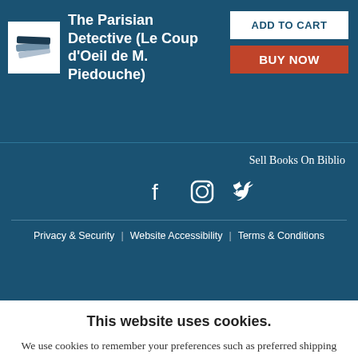The Parisian Detective (Le Coup d'Oeil de M. Piedouche)
ADD TO CART
BUY NOW
Sell Books On Biblio
Privacy & Security | Website Accessibility | Terms & Conditions
This website uses cookies.
We use cookies to remember your preferences such as preferred shipping country and currency, to save items placed in your shopping cart, to track website visits referred from our advertising partners, and to analyze our website traffic. Manage your privacy settings.
AGREE AND CLOSE